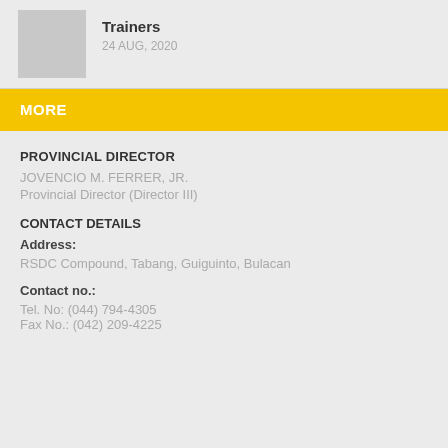[Figure (photo): Gray placeholder thumbnail image]
Trainers
24 AUG, 2020
MORE
PROVINCIAL DIRECTOR
JOVENCIO M. FERRER, JR.
Provincial Director (Director III)
CONTACT DETAILS
Address:
RSDC Compound, Tabang, Guiguinto, Bulacan
Contact no.:
Tel. No: (044) 794-4305
Fax No.: (042) 209-4225